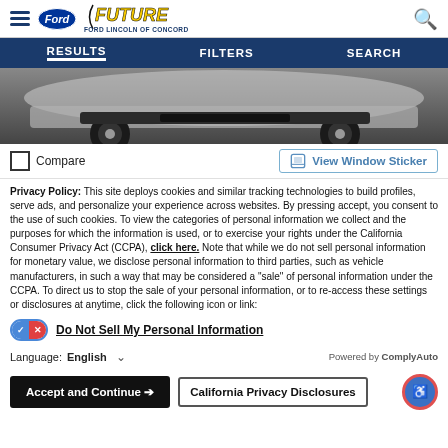Future Ford Lincoln of Concord — Navigation: RESULTS | FILTERS | SEARCH
[Figure (photo): Partial front/bottom view of a dark SUV (Ford Bronco) on a grey background]
Compare   View Window Sticker
Privacy Policy: This site deploys cookies and similar tracking technologies to build profiles, serve ads, and personalize your experience across websites. By pressing accept, you consent to the use of such cookies. To view the categories of personal information we collect and the purposes for which the information is used, or to exercise your rights under the California Consumer Privacy Act (CCPA), click here. Note that while we do not sell personal information for monetary value, we disclose personal information to third parties, such as vehicle manufacturers, in such a way that may be considered a "sale" of personal information under the CCPA. To direct us to stop the sale of your personal information, or to re-access these settings or disclosures at anytime, click the following icon or link:
Do Not Sell My Personal Information
Language: English   Powered by ComplyAuto
Accept and Continue →   California Privacy Disclosures